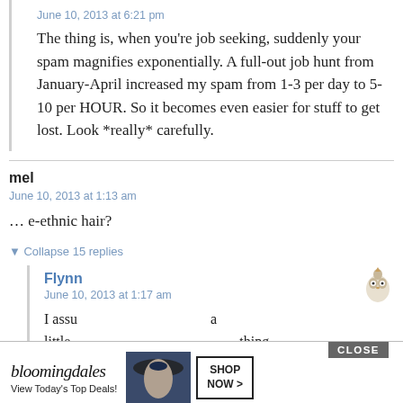June 10, 2013 at 6:21 pm
The thing is, when you’re job seeking, suddenly your spam magnifies exponentially. A full-out job hunt from January-April increased my spam from 1-3 per day to 5-10 per HOUR. So it becomes even easier for stuff to get lost. Look *really* carefully.
mel
June 10, 2013 at 1:13 am
… e-ethnic hair?
▼ Collapse 15 replies
Flynn
June 10, 2013 at 1:17 am
I assu                                                    a little                                                               thing.
[Figure (screenshot): Bloomingdale's advertisement overlay with CLOSE button, showing a woman in a hat, View Today's Top Deals text, and SHOP NOW button]